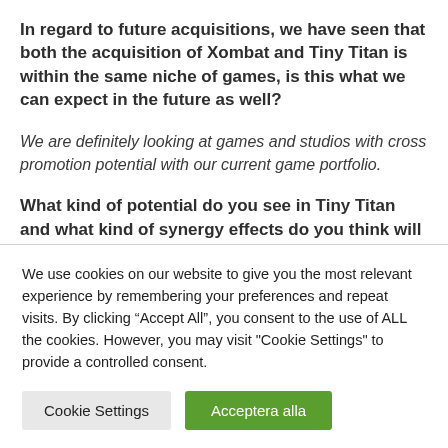In regard to future acquisitions, we have seen that both the acquisition of Xombat and Tiny Titan is within the same niche of games, is this what we can expect in the future as well?
We are definitely looking at games and studios with cross promotion potential with our current game portfolio.
What kind of potential do you see in Tiny Titan and what kind of synergy effects do you think will appear after the acquisition?
We use cookies on our website to give you the most relevant experience by remembering your preferences and repeat visits. By clicking “Accept All”, you consent to the use of ALL the cookies. However, you may visit "Cookie Settings" to provide a controlled consent.